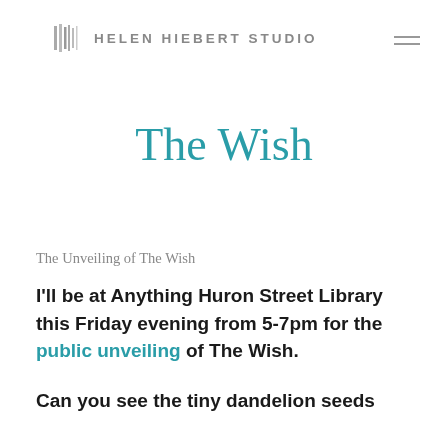HELEN HIEBERT STUDIO
The Wish
The Unveiling of The Wish
I'll be at Anything Huron Street Library this Friday evening from 5-7pm for the public unveiling of The Wish.
Can you see the tiny dandelion seeds